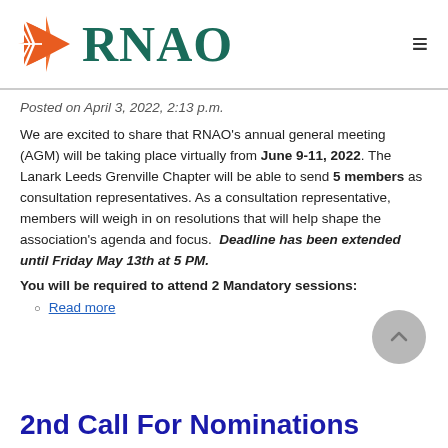[Figure (logo): RNAO logo with orange sunburst/arrow icon on left and large teal serif RNAO text]
Posted on April 3, 2022, 2:13 p.m.
We are excited to share that RNAO’s annual general meeting (AGM) will be taking place virtually from June 9-11, 2022. The Lanark Leeds Grenville Chapter will be able to send 5 members as consultation representatives. As a consultation representative, members will weigh in on resolutions that will help shape the association's agenda and focus. Deadline has been extended until Friday May 13th at 5 PM.
You will be required to attend 2 Mandatory sessions:
Read more
2nd Call For Nominations